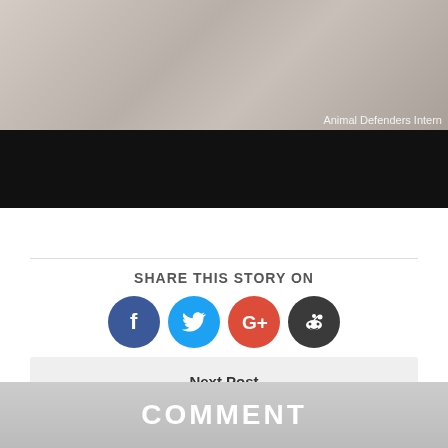[Figure (photo): Grayscale photo of what appears to be animal fur or feathers with a black bar overlay. Watermark reads 'Animal Defenders Intern']
SHARE THIS STORY ON
[Figure (infographic): Social sharing icons: Facebook (blue), Twitter (cyan), Google+ (red), Reddit (dark gray)]
Next Post
15 Before & After Pictures Of Pets On Being Called A Good Boy
Posted By: Bharat Asrani
COMMENT